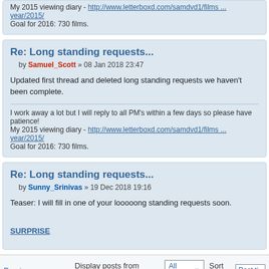My 2015 viewing diary - http://www.letterboxd.com/samdvd1/films ... year/2015/
Goal for 2016: 730 films.
Re: Long standing requests...
by Samuel_Scott » 08 Jan 2018 23:47
Updated first thread and deleted long standing requests we haven't been complete.
I work away a lot but I will reply to all PM's within a few days so please have patience!
My 2015 viewing diary - http://www.letterboxd.com/samdvd1/films ... year/2015/
Goal for 2016: 730 films.
Re: Long standing requests...
by Sunny_Srinivas » 19 Dec 2018 19:16
Teaser: I will fill in one of your looooong standing requests soon.
SURPRISE
Previous    Display posts from previous: All posts ▼   Sort by  Post ti...
POSTREPLY ↖
Return to Comparison Requests    Jump to: Co...